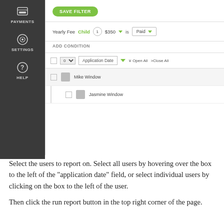[Figure (screenshot): Application screenshot showing a payment filter interface with a left sidebar (Payments, Settings, Help icons), a Save Filter button, a filter condition row (Yearly Fee Child 1 $350 is Paid), an Add Condition link, an Application Date row with Open All/Close All controls, and two user rows: Mike Window and Jasmine Window.]
Select the users to report on. Select all users by hovering over the box to the left of the "application date" field, or select individual users by clicking on the box to the left of the user.
Then click the run report button in the top right corner of the page.